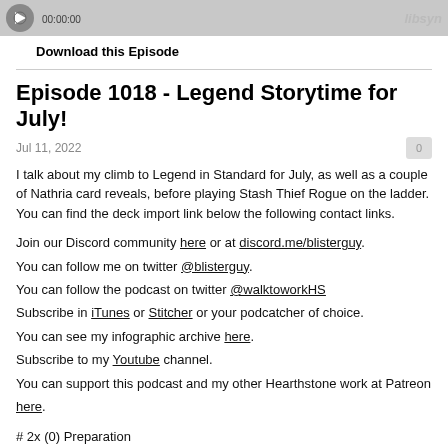[Figure (other): Audio player bar with play button, progress bar showing 00:00:00, and Libsyn logo]
Download this Episode
Episode 1018 - Legend Storytime for July!
Jul 11, 2022
I talk about my climb to Legend in Standard for July, as well as a couple of Nathria card reveals, before playing Stash Thief Rogue on the ladder. You can find the deck import link below the following contact links.
Join our Discord community here or at discord.me/blisterguy.
You can follow me on twitter @blisterguy.
You can follow the podcast on twitter @walktoworkHS
Subscribe in iTunes or Stitcher or your podcatcher of choice.
You can see my infographic archive here.
Subscribe to my Youtube channel.
You can support this podcast and my other Hearthstone work at Patreon here.
# 2x (0) Preparation
# 2x (1) Blackwater Cutlass
# 2x (1) Gone Fishin'
# 2x (2) Jackpot!
# 1x (2) Maestra of the Masquerade